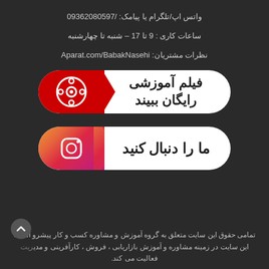واتس اپ/تلگرام یا پیامک: /09362080597
ساعات کاری : 9 تا 17 – شنبه تا چهارشنبه
نظرات مشتریان: Aparat.com/BabakNasehi
[Figure (infographic): Red button with film reel icon on left and Persian text 'فیلم آموزشی رایگان ببیند' on right]
[Figure (infographic): Instagram gradient button with Instagram icon on left and Persian text 'ما را دنبال کنید' on right]
تمامی حقوق این سایت متعلق به گروه آموزش و مشاوره کسب و کار پیشرو است. این سایت در زمینه مشاوره و آموزش بازاریابی ، فروش ، کارآفرینی و مدیریت فعالیت می کند.